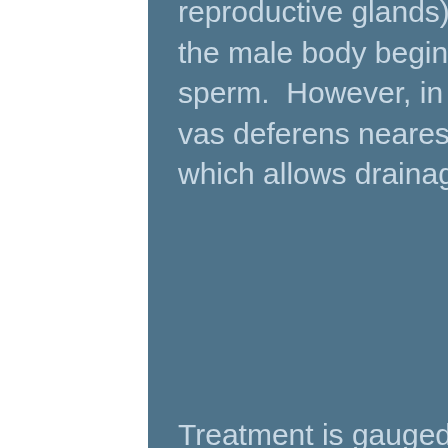reproductive glands).  This usually resolves itself as the male body begins to resorb excess fluid and sperm.  However, in many vasectomies the end of the vas deferens nearest the testicle isn't clamped off which allows drainage of spermatic fluid.
Treatment is gauged upon the cause.  For all types of epididymitis or epidiymo-orchitis, scrotal elevation (lying flat and placing a washcloth under the scrotum to elevate it) can help some of the fluid drain out of the inflamed area and also helps relieve some of the pain.  Since the testicles always “hang,” it can be hard for excessive fluid to because gravity is working aga the fluid to pull it further down into